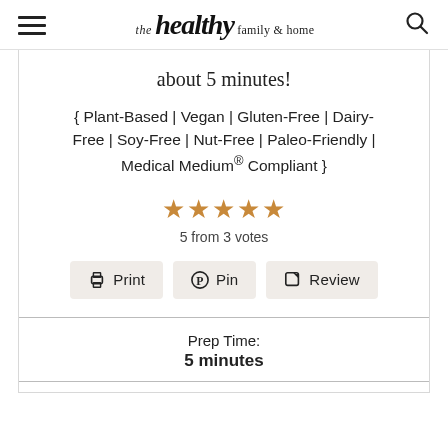the healthy family & home
about 5 minutes!
{ Plant-Based | Vegan | Gluten-Free | Dairy-Free | Soy-Free | Nut-Free | Paleo-Friendly | Medical Medium® Compliant }
[Figure (other): 5 gold stars rating]
5 from 3 votes
Print  Pin  Review
Prep Time: 5 minutes